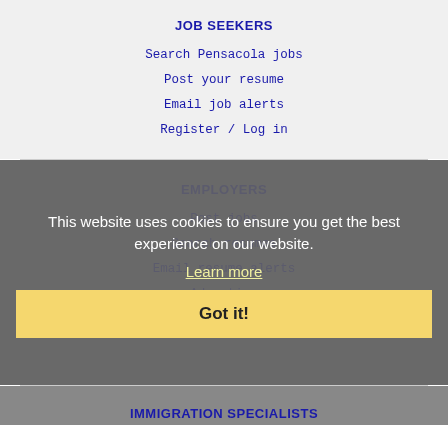JOB SEEKERS
Search Pensacola jobs
Post your resume
Email job alerts
Register / Log in
EMPLOYERS
Post jobs
Search resumes
Email resume alerts
Advertise
This website uses cookies to ensure you get the best experience on our website.
Learn more
Got it!
IMMIGRATION SPECIALISTS